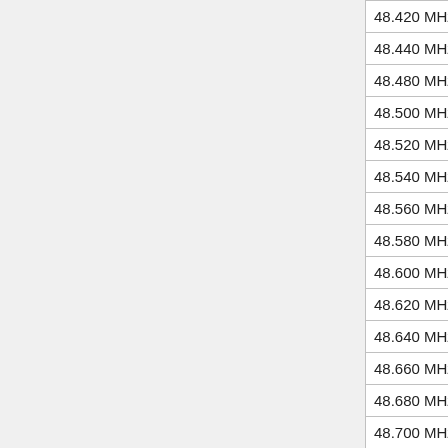| Frequency |  |
| --- | --- |
| 48.420 MHz |  |
| 48.440 MHz |  |
| 48.480 MHz |  |
| 48.500 MHz |  |
| 48.520 MHz |  |
| 48.540 MHz |  |
| 48.560 MHz |  |
| 48.580 MHz |  |
| 48.600 MHz |  |
| 48.620 MHz |  |
| 48.640 MHz |  |
| 48.660 MHz |  |
| 48.680 MHz |  |
| 48.700 MHz |  |
| 48.720 MHz |  |
| 48.740 MHz |  |
| 48.760 MHz |  |
| 48.780 MHz |  |